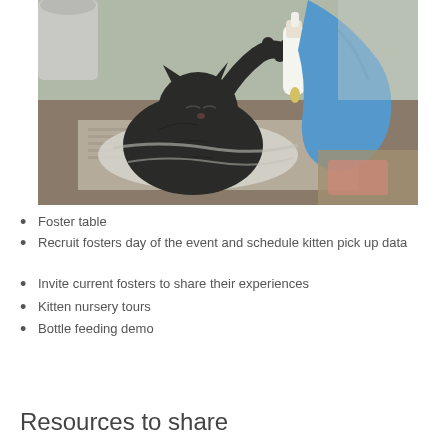[Figure (photo): A dark black kitten being bottle-fed by a person wearing blue gloves. The kitten is lying on its back on newspaper and a cloth, reaching up toward the bottle with its paw.]
Foster table
Recruit fosters day of the event and schedule kitten pick up data
Invite current fosters to share their experiences
Kitten nursery tours
Bottle feeding demo
Resources to share